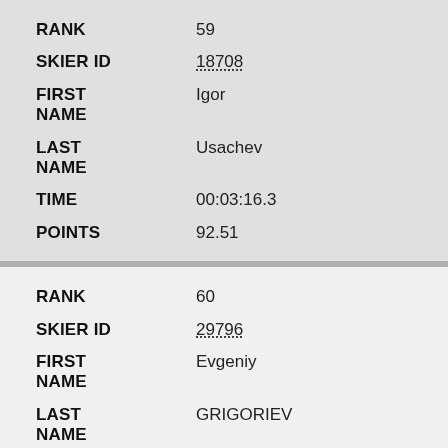| Field | Value |
| --- | --- |
| RANK | 59 |
| SKIER ID | 18708 |
| FIRST NAME | Igor |
| LAST NAME | Usachev |
| TIME | 00:03:16.3 |
| POINTS | 92.51 |
| Field | Value |
| --- | --- |
| RANK | 60 |
| SKIER ID | 29796 |
| FIRST NAME | Evgeniy |
| LAST NAME | GRIGORIEV |